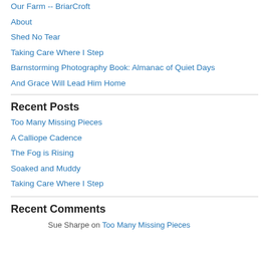Our Farm -- BriarCroft
About
Shed No Tear
Taking Care Where I Step
Barnstorming Photography Book: Almanac of Quiet Days
And Grace Will Lead Him Home
Recent Posts
Too Many Missing Pieces
A Calliope Cadence
The Fog is Rising
Soaked and Muddy
Taking Care Where I Step
Recent Comments
Sue Sharpe on Too Many Missing Pieces